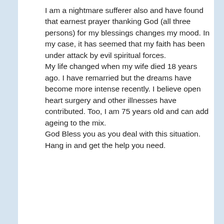I am a nightmare sufferer also and have found that earnest prayer thanking God (all three persons) for my blessings changes my mood. In my case, it has seemed that my faith has been under attack by evil spiritual forces.
My life changed when my wife died 18 years ago. I have remarried but the dreams have become more intense recently. I believe open heart surgery and other illnesses have contributed. Too, I am 75 years old and can add ageing to the mix.
God Bless you as you deal with this situation. Hang in and get the help you need.